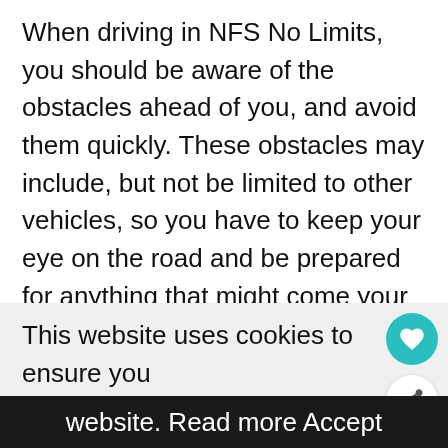When driving in NFS No Limits, you should be aware of the obstacles ahead of you, and avoid them quickly. These obstacles may include, but not be limited to other vehicles, so you have to keep your eye on the road and be prepared for anything that might come your way. Some quick thinking is required here, though with a little practice, you'll know when exactly to change lanes, go for a drift, activate your nitro, or whatnot without getting into any trouble.
This website uses cookies to ensure you get the best experience on our website. Read more   Accept